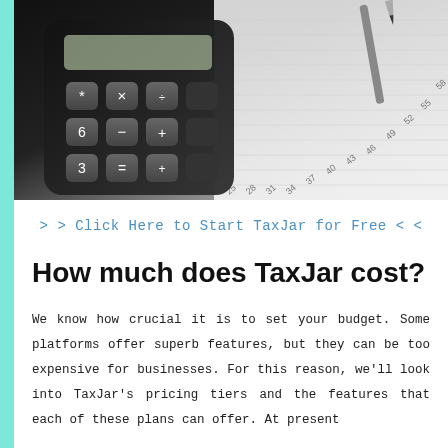[Figure (photo): Close-up photo of a black calculator with grey keys showing symbols like x, -, +, =, and numbers 6, 3, alongside a pen and a ruled/numbered sheet of paper with numbers 25, 28, 31, 34, 37, 40, 43, 46, 49, 52, 55, 58 visible]
> > Click Here to Start TaxJar for Free < <
How much does TaxJar cost?
We know how crucial it is to set your budget. Some platforms offer superb features, but they can be too expensive for businesses. For this reason, we'll look into TaxJar's pricing tiers and the features that each of these plans can offer. At present